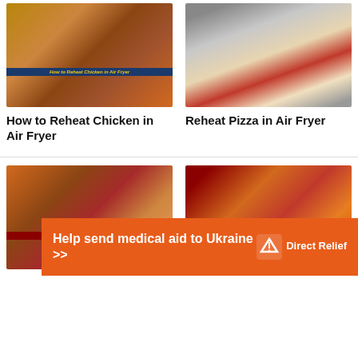[Figure (photo): Collage of air fryer chicken dishes with text overlay 'How to Reheat Chicken in Air Fryer']
[Figure (photo): Pizza slices in an air fryer basket]
How to Reheat Chicken in Air Fryer
Reheat Pizza in Air Fryer
[Figure (photo): Collage of air fryer dessert recipes with red banner label 'Easy Air Fryer Dessert Recipes']
[Figure (photo): Collage of air fryer appetizer and finger food recipes]
[Figure (screenshot): Orange advertisement banner: 'Help send medical aid to Ukraine >>' with Direct Relief logo]